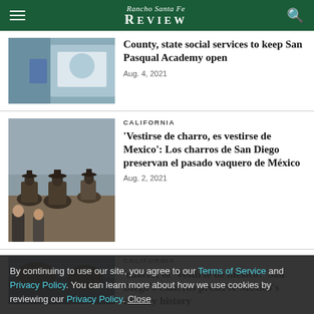Rancho Santa Fe Review
[Figure (photo): Photo of person holding a sign related to San Pasqual Academy]
County, state social services to keep San Pasqual Academy open
Aug. 4, 2021
[Figure (photo): Photo of charros on horseback in a dusty field, wearing traditional Mexican charro hats]
CALIFORNIA
'Vestirse de charro, es vestirse de Mexico': Los charros de San Diego preservan el pasado vaquero de México
Aug. 2, 2021
[Figure (photo): Partial photo of third article about charros]
CALIFORNIA
'Charro, to 'Vestirse de mexico:' San Diego's Charros preserve Mexico's cowboy history
By continuing to use our site, you agree to our Terms of Service and Privacy Policy. You can learn more about how we use cookies by reviewing our Privacy Policy. Close